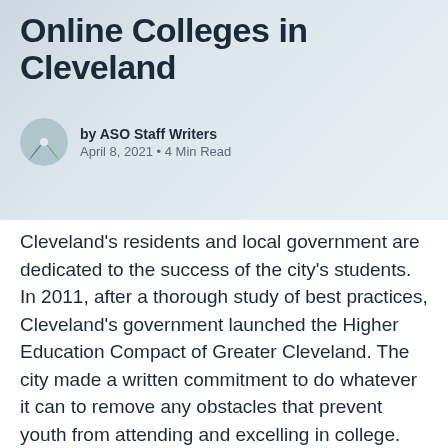Online Colleges in Cleveland
by ASO Staff Writers
April 8, 2021 • 4 Min Read
Cleveland's residents and local government are dedicated to the success of the city's students. In 2011, after a thorough study of best practices, Cleveland's government launched the Higher Education Compact of Greater Cleveland. The city made a written commitment to do whatever it can to remove any obstacles that prevent youth from attending and excelling in college. This compact has increased the level of